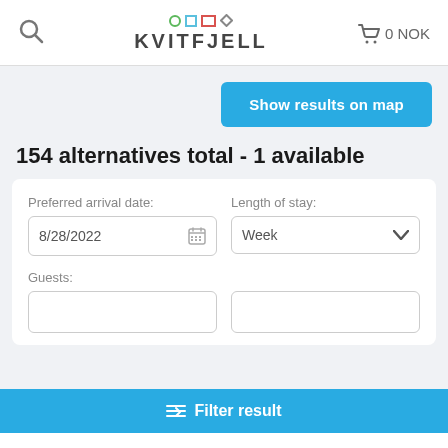KVITFJELL — Search | 0 NOK
Show results on map
154 alternatives total - 1 available
Preferred arrival date: 8/28/2022   Length of stay: Week
Guests:
Filter result